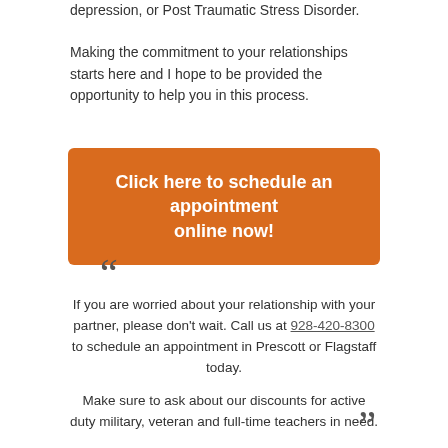depression, or Post Traumatic Stress Disorder.
Making the commitment to your relationships starts here and I hope to be provided the opportunity to help you in this process.
Click here to schedule an appointment online now!
““
If you are worried about your relationship with your partner, please don’t wait. Call us at 928-420-8300 to schedule an appointment in Prescott or Flagstaff today.

Make sure to ask about our discounts for active duty military, veteran and full-time teachers in need.
””